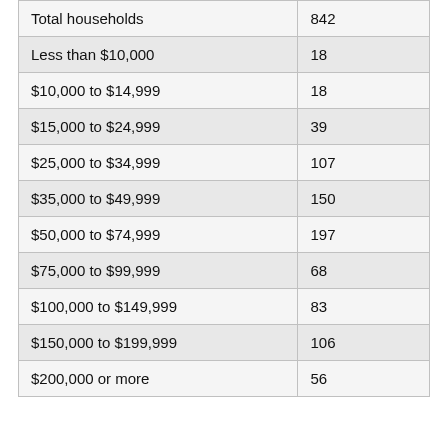| Total households | 842 |
| Less than $10,000 | 18 |
| $10,000 to $14,999 | 18 |
| $15,000 to $24,999 | 39 |
| $25,000 to $34,999 | 107 |
| $35,000 to $49,999 | 150 |
| $50,000 to $74,999 | 197 |
| $75,000 to $99,999 | 68 |
| $100,000 to $149,999 | 83 |
| $150,000 to $199,999 | 106 |
| $200,000 or more | 56 |